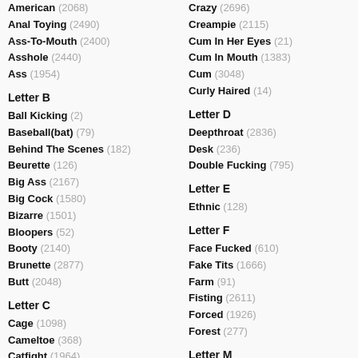American (2068)
Anal Toying (2490)
Ass-To-Mouth (2400)
Asshole (2440)
Ass (1954)
Letter B
Ball Kicking (2)
Baseball(bat) (79)
Behind The Scenes (182)
Beurette (126)
Big Ass (2167)
Big Cock (1580)
Bizarre (1501)
Bloopers (52)
Booty (2140)
Brunette (2877)
Butt (2048)
Letter C
Cage (1098)
Cameltoe (368)
Catfight (1964)
Letter F
Freckled (69)
French (2143)
Crazy (2696)
Creampie (2115)
Cum In Her Eyes (21)
Cum In Mouth (1383)
Cum (3048)
Curly Haired (14)
Letter D
Deepthroat (2836)
Desk (236)
Double Fucking (795)
Letter E
Ethnic (128)
Letter F
Face Fucked (610)
Fake Tits (1666)
Farm (91)
Fisting (2611)
Forced (1926)
Forest (277)
Letter M
Messy (1693)
Muff Diving (885)